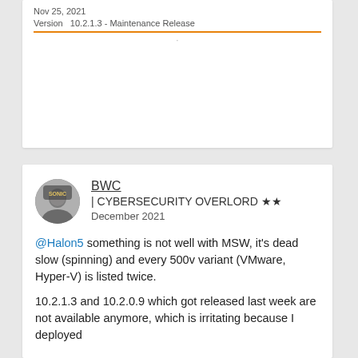Nov 25, 2021
Version   10.2.1.3 - Maintenance Release
BWC
| CYBERSECURITY OVERLORD ★★
December 2021
@Halon5 something is not well with MSW, it's dead slow (spinning) and every 500v variant (VMware, Hyper-V) is listed twice.
10.2.1.3 and 10.2.0.9 which got released last week are not available anymore, which is irritating because I deployed